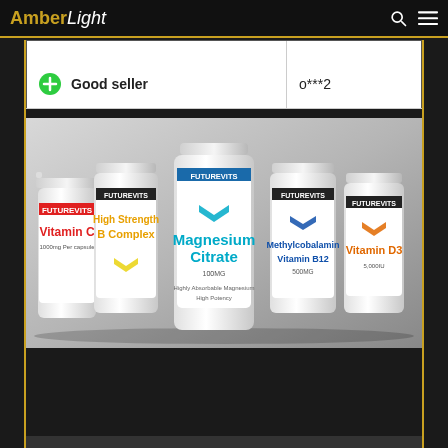AmberLight
|  |  |
| --- | --- |
|  |  |
| ⊕  Good seller | o***2 |
[Figure (photo): Five supplement bottles from FutureVits brand arranged in a row: Vitamin C, High Strength B Complex, Magnesium Citrate (center, largest), Methylcobalamin Vitamin B12, and Vitamin D3, photographed against a grey gradient background.]